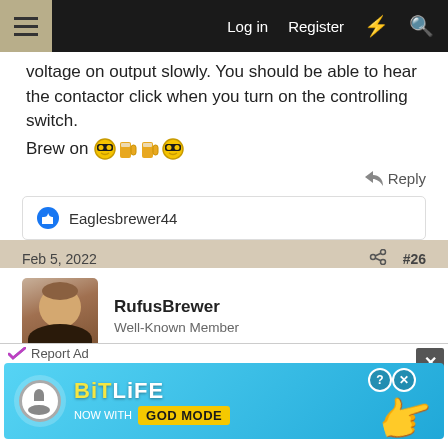Log in  Register
voltage on output slowly. You should be able to hear the contactor click when you turn on the controlling switch.
Brew on 😎🍺🍺😎
Reply
Eaglesbrewer44
Feb 5, 2022  #26
RufusBrewer
Well-Known Member
Double check the contactor coil rating. Make sure it is rated for the correct voltage that it is XXX Volts AC.
[Figure (screenshot): BitLife advertisement banner - NOW WITH GOD MODE]